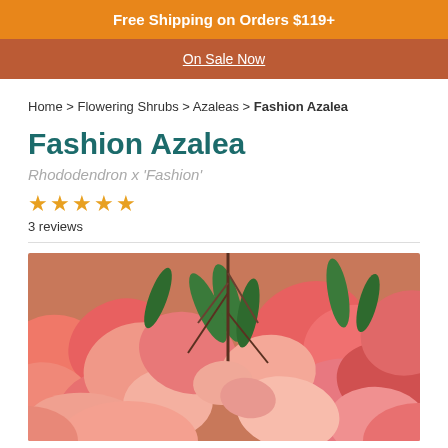Free Shipping on Orders $119+
On Sale Now
Home > Flowering Shrubs > Azaleas > Fashion Azalea
Fashion Azalea
Rhododendron x 'Fashion'
★★★★★ 3 reviews
[Figure (photo): Close-up photo of pink-red Fashion Azalea flowers with green leaves]